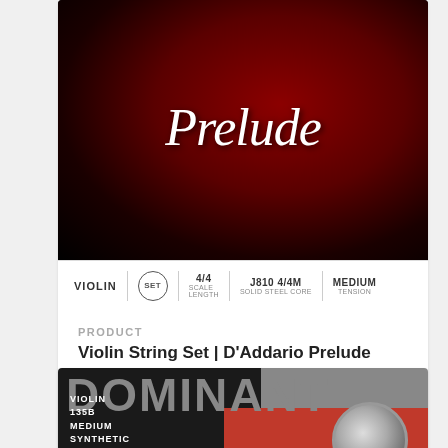[Figure (photo): D'Addario Prelude violin string set product image. Red and black background with cursive 'Prelude' text in white. Bottom bar shows: VIOLIN, SET (circled), 4/4 SCALE LENGTH, J810 4/4M SOLID STEEL CORE, MEDIUM TENSION.]
PRODUCT
Violin String Set | D'Addario Prelude
$23.00 $36.00
[Figure (photo): Thomastik Dominant violin string set product image. Dark background with large 'DOMINANT' text in gray/silver. Left side shows VIOLIN, 135B, MEDIUM, SYNTHETIC CORE in white text on dark background. Right side has orange-red background with metallic coil/string visible.]